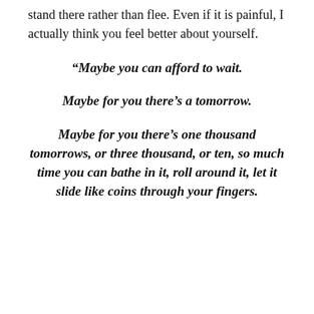stand there rather than flee. Even if it is painful, I actually think you feel better about yourself.
“Maybe you can afford to wait.

Maybe for you there’s a tomorrow.

Maybe for you there’s one thousand tomorrows, or three thousand, or ten, so much time you can bathe in it, roll around it, let it slide like coins through your fingers.